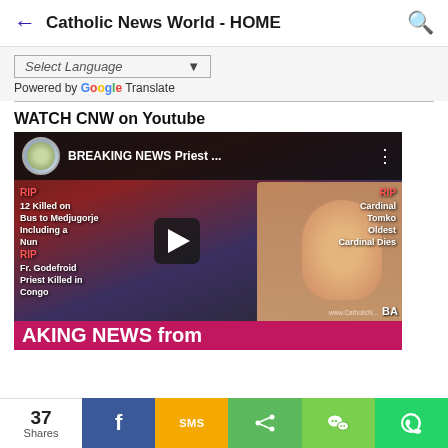Catholic News World - HOME
Select Language
Powered by Google Translate
WATCH CNW on Youtube
[Figure (screenshot): YouTube video thumbnail showing 'BREAKING NEWS Priest ...' with news overlay text about: RIP 12 Killed on Bus to Medjugorje Including a Nun; RIP Cardinal Tomko Oldest Cardinal Dies; RIP Fr. Godefroid Priest Killed in Congo; AKING NEWS from... A woman presenter is visible in the center. A play button is shown. Breaking news pink banner at bottom.]
37 Shares